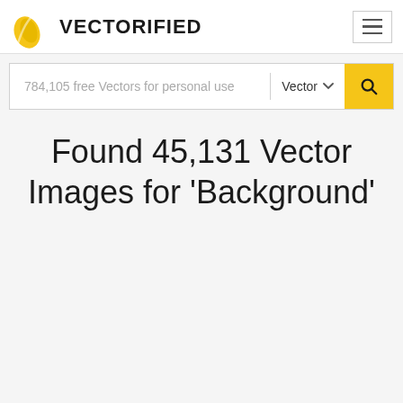VECTORIFIED
784,105 free Vectors for personal use
Found 45,131 Vector Images for 'Background'